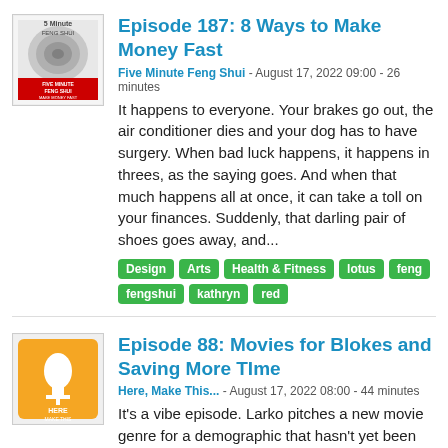[Figure (illustration): Five Minute Feng Shui podcast thumbnail with spiral staircase and red logo]
Episode 187: 8 Ways to Make Money Fast
Five Minute Feng Shui - August 17, 2022 09:00 - 26 minutes
It happens to everyone. Your brakes go out, the air conditioner dies and your dog has to have surgery. When bad luck happens, it happens in threes, as the saying goes. And when that much happens all at once, it can take a toll on your finances. Suddenly, that darling pair of shoes goes away, and...
Design
Arts
Health & Fitness
lotus
feng
fengshui
kathryn
red
[Figure (illustration): Here Make This podcast thumbnail with orange microphone logo]
Episode 88: Movies for Blokes and Saving More TIme
Here, Make This... - August 17, 2022 08:00 - 44 minutes
It's a vibe episode. Larko pitches a new movie genre for a demographic that hasn't yet been